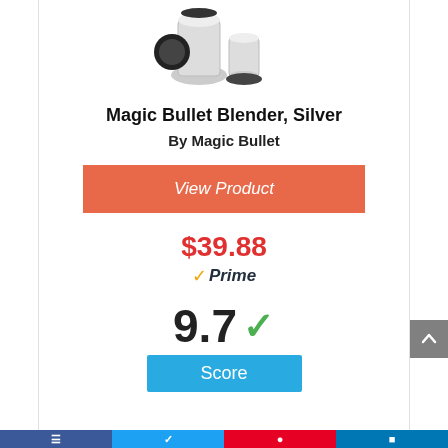[Figure (photo): Magic Bullet blender product image showing cups and accessories]
Magic Bullet Blender, Silver
By Magic Bullet
View Product
$39.88
Prime
9.7 Score